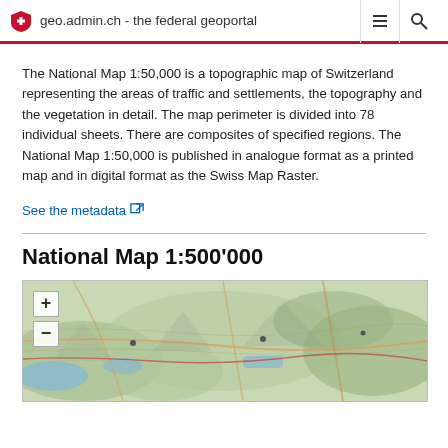geo.admin.ch - the federal geoportal
The National Map 1:50,000 is a topographic map of Switzerland representing the areas of traffic and settlements, the topography and the vegetation in detail. The map perimeter is divided into 78 individual sheets. There are composites of specified regions. The National Map 1:50,000 is published in analogue format as a printed map and in digital format as the Swiss Map Raster.
See the metadata
National Map 1:500'000
[Figure (map): Interactive topographic map of Switzerland at 1:500,000 scale showing terrain, roads, lakes and settlements with zoom controls (+ and - buttons)]